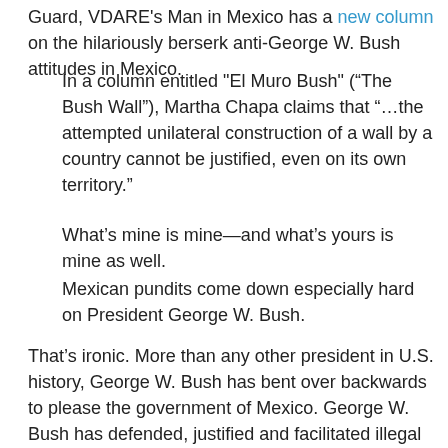Guard, VDARE's Man in Mexico has a new column on the hilariously berserk anti-George W. Bush attitudes in Mexico.
In a column entitled "El Muro Bush" (“The Bush Wall”), Martha Chapa claims that “…the attempted unilateral construction of a wall by a country cannot be justified, even on its own territory.”
What’s mine is mine—and what’s yours is mine as well.
Mexican pundits come down especially hard on President George W. Bush.
That’s ironic. More than any other president in U.S. history, George W. Bush has bent over backwards to please the government of Mexico. George W. Bush has defended, justified and facilitated illegal immigration.
And if he finally does take action to control our border, it will be due to grassroots pressure, not his own desire to fulfill his duty protecting our borders.
Nevertheless, in Mexico, Bush is regularly vilified and